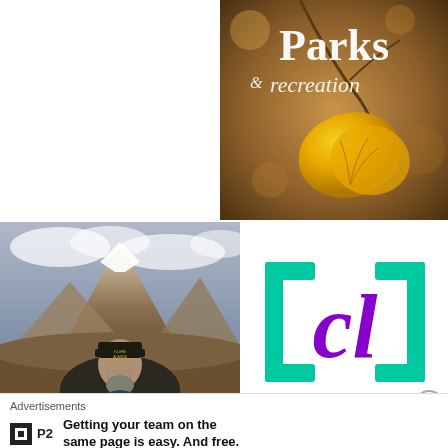[Figure (illustration): Parks & recreation logo/cover image with stylized text on a blurred autumn background with ginkgo leaf]
[Figure (photo): Man wearing a KLIHB ALASKA cap standing in front of a mountain landscape with snow-capped peaks and cloudy sky]
[Figure (logo): CL logo with teal brackets and purple italic CL text]
Advertisements
[Figure (logo): P2 logo - black square with white square inside, followed by bold P2 text]
Getting your team on the same page is easy. And free.